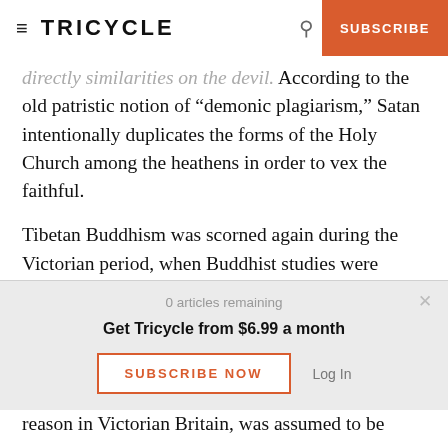≡ TRICYCLE  🔍  SUBSCRIBE
directly similarities on the devil. According to the old patristic notion of “demonic plagiarism,” Satan intentionally duplicates the forms of the Holy Church among the heathens in order to vex the faithful.
Tibetan Buddhism was scorned again during the Victorian period, when Buddhist studies were growing into an academic discipline. A rhetoric of the demonic came into play here as well, but for
0 articles remaining
Get Tricycle from $6.99 a month
SUBSCRIBE NOW
Log In
reason  in Victorian Britain, was assumed to be